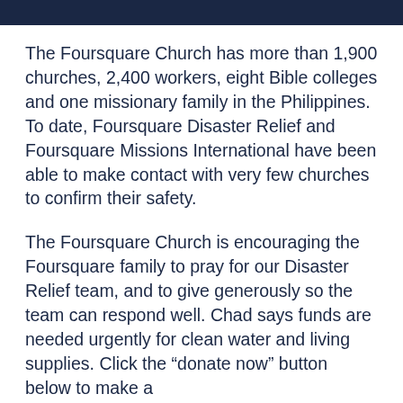The Foursquare Church has more than 1,900 churches, 2,400 workers, eight Bible colleges and one missionary family in the Philippines. To date, Foursquare Disaster Relief and Foursquare Missions International have been able to make contact with very few churches to confirm their safety.
The Foursquare Church is encouraging the Foursquare family to pray for our Disaster Relief team, and to give generously so the team can respond well. Chad says funds are needed urgently for clean water and living supplies. Click the “donate now” button below to make a